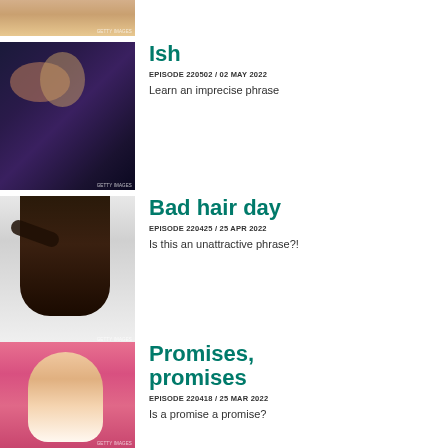[Figure (photo): Partial view of a person with blonde hair, cropped at top of page]
[Figure (photo): Two young people in a cinema, woman resting head on man's shoulder]
Ish
EPISODE 220502 / 02 MAY 2022
Learn an imprecise phrase
[Figure (photo): Woman with dark hair blowing across her face against white background]
Bad hair day
EPISODE 220425 / 25 APR 2022
Is this an unattractive phrase?!
[Figure (photo): Young woman with arms crossed looking serious against pink background]
Promises, promises
EPISODE 220418 / 25 MAR 2022
Is a promise a promise?